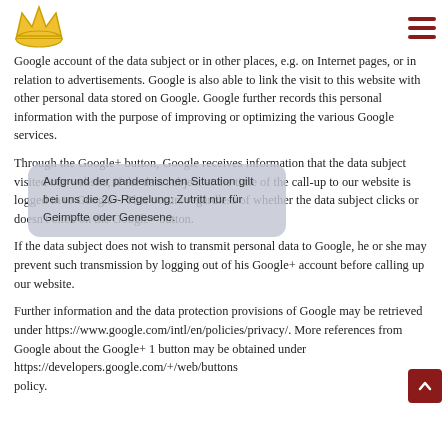[Figure (logo): Gold crown logo in page header]
Google account of the data subject or in other places, e.g. on Internet pages, or in relation to advertisements. Google is also able to link the visit to this website with other personal data stored on Google. Google further records this personal information with the purpose of improving or optimizing the various Google services.
Through the Google+ button, Google receives information that the data subject visited our website, if the data subject at the time of the call-up to our website is logged in to Google+. This occurs regardless of whether the data subject clicks or doesn't click on the Google+ button.
Aufgrund der pandemischen Situation gilt bei uns die 2G-Regelung: Zutritt nur für Geimpfte oder Genesene.
If the data subject does not wish to transmit personal data to Google, he or she may prevent such transmission by logging out of his Google+ account before calling up our website.
Further information and the data protection provisions of Google may be retrieved under https://www.google.com/intl/en/policies/privacy/. More references from Google about the Google+ 1 button may be obtained under https://developers.google.com/+/web/buttons policy.